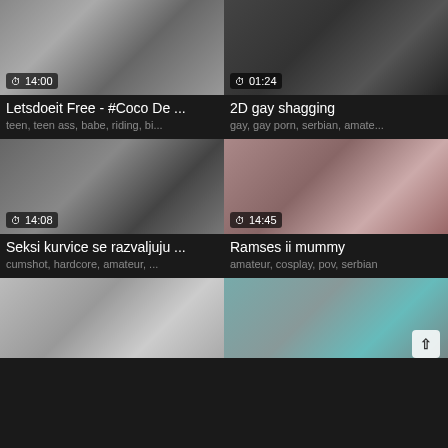[Figure (screenshot): Video thumbnail grid showing 6 video cards with thumbnails, durations, titles, and tags on dark background]
14:00 | Letsdoeit Free - #Coco De ... | teen, teen ass, babe, riding, bi...
01:24 | 2D gay shagging | gay, gay porn, serbian, amate...
14:08 | Seksi kurvice se razvaljuju ... | cumshot, hardcore, amateur, ...
14:45 | Ramses ii mummy | amateur, cosplay, pov, serbian
[Figure (photo): Bottom left partial thumbnail]
[Figure (photo): Bottom right partial thumbnail]